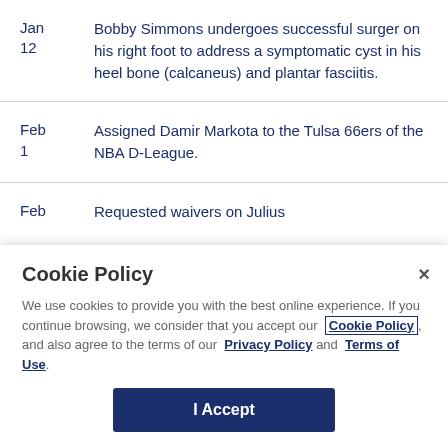Jan 12 — Bobby Simmons undergoes successful surger on his right foot to address a symptomatic cyst in his heel bone (calcaneus) and plantar fasciitis.
Feb 1 — Assigned Damir Markota to the Tulsa 66ers of the NBA D-League.
Feb 7 — Requested waivers on Julius ...
Cookie Policy
We use cookies to provide you with the best online experience. If you continue browsing, we consider that you accept our Cookie Policy, and also agree to the terms of our Privacy Policy and Terms of Use.
I Accept